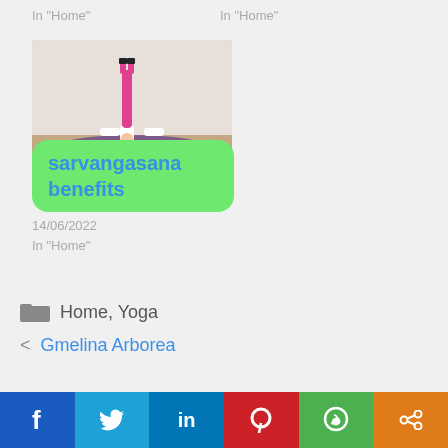In "Home"
In "Home"
[Figure (photo): Person doing a shoulder stand (sarvangasana) yoga pose on a purple mat, with a green label overlay reading 'sarvangasana benefits']
14/06/2022
In "Home"
Home, Yoga
Gmelina Arborea
f  Twitter  in  P  WhatsApp  Share